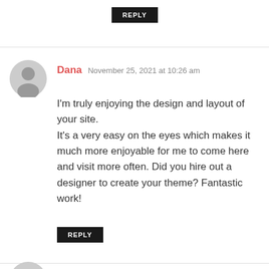REPLY
Dana  November 25, 2021 at 10:26 am
I'm truly enjoying the design and layout of your site.
It's a very easy on the eyes which makes it much more enjoyable for me to come here and visit more often. Did you hire out a designer to create your theme? Fantastic work!
REPLY